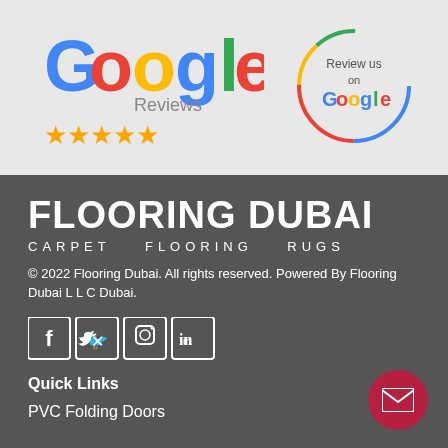[Figure (logo): Google Reviews logo with 5 gold stars and 'Google Reviews' text]
[Figure (logo): Review us on Google circular badge with Google colored text and multicolor circle border]
FLOORING DUBAI
CARPET   FLOORING   RUGS
© 2022 Flooring Dubai. All rights reserved. Powered By Flooring Dubai L L C Dubai.
[Figure (infographic): Social media icons: Facebook, Twitter, Instagram, LinkedIn in white square bordered boxes]
Quick Links
PVC Folding Doors
[Figure (illustration): Red circular email/envelope button]